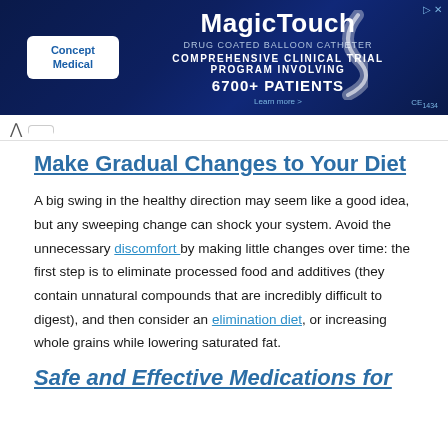[Figure (other): Advertisement banner for MagicTouch by Concept Medical — Comprehensive Clinical Trial Program Involving 6700+ Patients. CE1434 logo visible.]
Make Gradual Changes to Your Diet
A big swing in the healthy direction may seem like a good idea, but any sweeping change can shock your system. Avoid the unnecessary discomfort by making little changes over time: the first step is to eliminate processed food and additives (they contain unnatural compounds that are incredibly difficult to digest), and then consider an elimination diet, or increasing whole grains while lowering saturated fat.
Safe and Effective Medications for